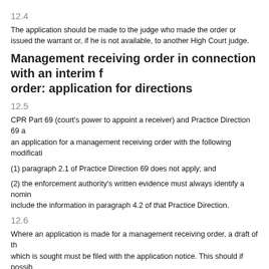12.4
The application should be made to the judge who made the order or issued the warrant or, if he is not available, to another High Court judge.
Management receiving order in connection with an interim freezing order: application for directions
12.5
CPR Part 69 (court’s power to appoint a receiver) and Practice Direction 69 apply to an application for a management receiving order with the following modifications:
(1) paragraph 2.1 of Practice Direction 69 does not apply; and
(2) the enforcement authority’s written evidence must always identify a nominee and include the information in paragraph 4.2 of that Practice Direction.
12.6
Where an application is made for a management receiving order, a draft of the order which is sought must be filed with the application notice. This should if possible be supplied to the court in an electronic form compatible with the word processing software used by the court.